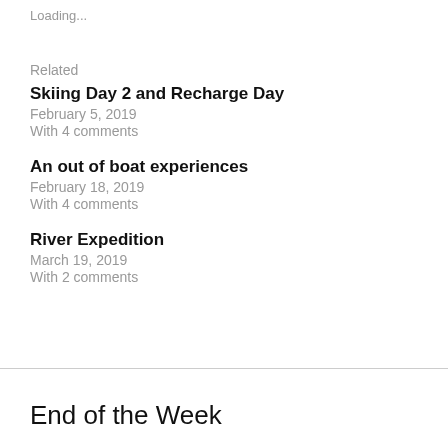Loading...
Related
Skiing Day 2 and Recharge Day
February 5, 2019
With 4 comments
An out of boat experiences
February 18, 2019
With 4 comments
River Expedition
March 19, 2019
With 2 comments
End of the Week